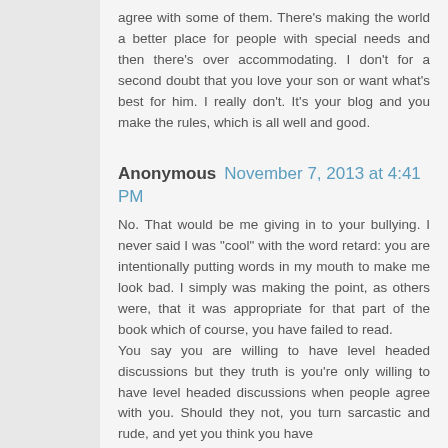agree with some of them. There's making the world a better place for people with special needs and then there's over accommodating. I don't for a second doubt that you love your son or want what's best for him. I really don't. It's your blog and you make the rules, which is all well and good.
Anonymous November 7, 2013 at 4:41 PM
No. That would be me giving in to your bullying. I never said I was "cool" with the word retard: you are intentionally putting words in my mouth to make me look bad. I simply was making the point, as others were, that it was appropriate for that part of the book which of course, you have failed to read.
You say you are willing to have level headed discussions but they truth is you're only willing to have level headed discussions when people agree with you. Should they not, you turn sarcastic and rude, and yet you think you have